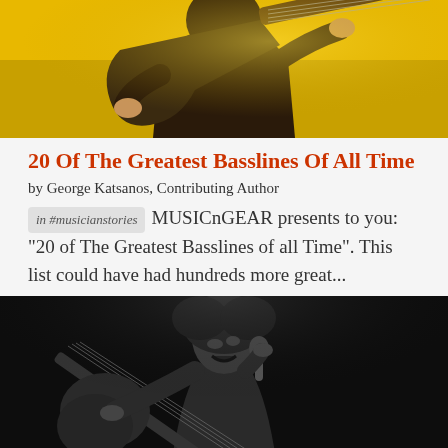[Figure (photo): A guitarist playing bass guitar against a bright yellow background, wearing a suit with a red bow tie. Upper portion of body visible.]
20 Of The Greatest Basslines Of All Time
by George Katsanos, Contributing Author
in #musicianstories   MUSICnGEAR presents to you: "20 of The Greatest Basslines of all Time". This list could have had hundreds more great...
[Figure (photo): Black and white photograph of a guitarist performing on stage, playing electric guitar with expressive face.]